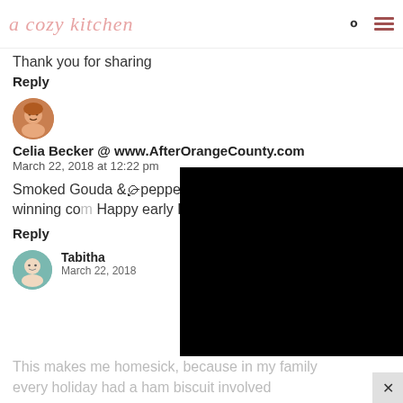a cozy kitchen
Thank you for sharing
Reply
Celia Becker @ www.AfterOrangeCounty.com
March 22, 2018 at 12:22 pm
Smoked Gouda & Pepper!!! YUM!!! That's what I call a winning com... Happy early East...
Reply
Tabitha
March 22, 2018
This makes me homesick, because in my family every holiday had a ham biscuit involved